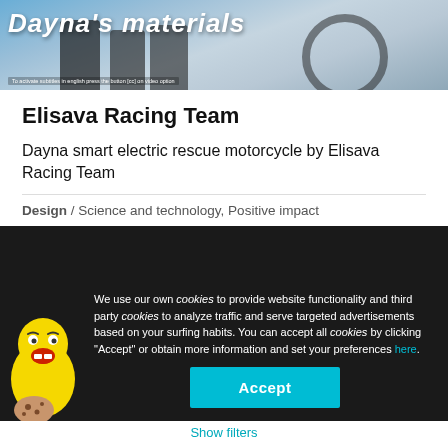[Figure (photo): Dayna's materials banner image showing people with a motorcycle, with overlaid italic text 'Dayna's materials']
Elisava Racing Team
Dayna smart electric rescue motorcycle by Elisava Racing Team
Design / Science and technology, Positive impact
Project crowdfunded on August 08, 2020
We use our own cookies to provide website functionality and third party cookies to analyze traffic and serve targeted advertisements based on your surfing habits. You can accept all cookies by clicking "Accept" or obtain more information and set your preferences here.
Accept
Show filters